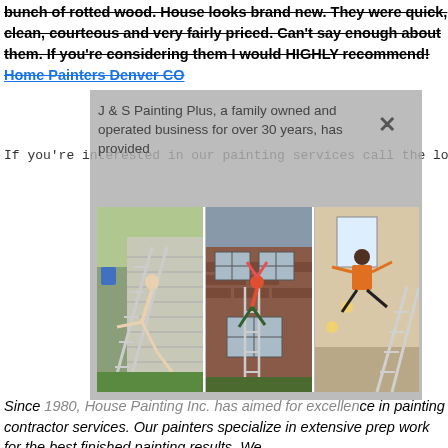bunch of rotted wood. House looks brand new. They were quick, clean, courteous and very fairly priced. Can't say enough about them. If you're considering them I would HIGHLY recommend! Home Painters Denver CO
If you're interested in our painting services call the lo
J & S Painting Plus, a family owned and operated business for over 30 years, has provided
[Figure (photo): Three panel photo collage showing people falling or doing stunts off ladders: left panel shows person falling backward off a ladder leaning against a house with vinyl siding outdoors; center panel shows person hanging from window ledge of brick house with ladder below; right panel shows person doing a back flip or fall indoors near scaffolding.]
Since 1980, House Painting Inc. has aimed for excellence in painting contractor services. Our painters specialize in extensive prep work for the best finished painting results. We